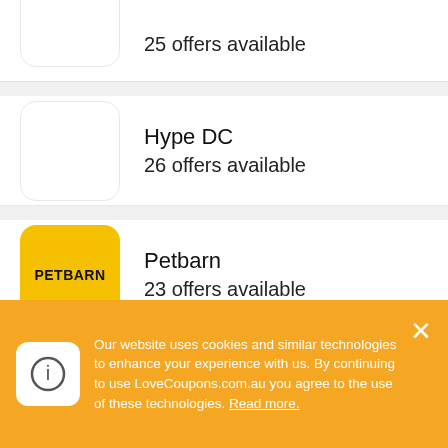25 offers available
Hype DC
26 offers available
Petbarn
23 offers available
T2 Tea
13 offers available
Our website uses cookies and similar technologies to enhance your experience with us. By continuing to use LoveCoupons.com.au you agree to the use of these technologies. Read more.